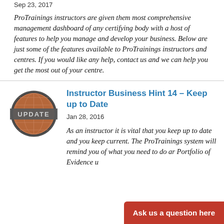Sep 23, 2017
ProTrainings instructors are given them most comprehensive management dashboard of any certifying body with a host of features to help you manage and develop your business.  Below are just some of the features available to ProTrainings instructors and centres.  If you would like any help, contact us and we can help you get the most out of your centre.
[Figure (logo): Globe icon with UPDATE banner overlay, brown/terracotta globe with dark border and gray UPDATE text band across the middle]
Instructor Business Hint 14 – Keep up to Date
Jan 28, 2016
As an instructor it is vital that you keep up to date and you keep current. The ProTrainings system will remind you of what you need to do ar Portfolio of Evidence u
Ask us a question here